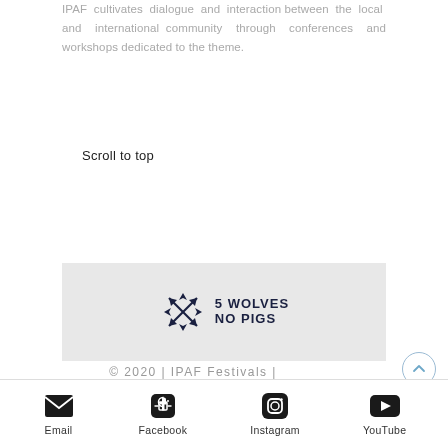IPAF cultivates dialogue and interaction between the local and international community through conferences and workshops dedicated to the theme.
Scroll to top
[Figure (logo): 5 Wolves No Pigs logo with crossed arrows/wings icon in dark navy blue]
© 2020 | IPAF Festivals |
Email  Facebook  Instagram  YouTube